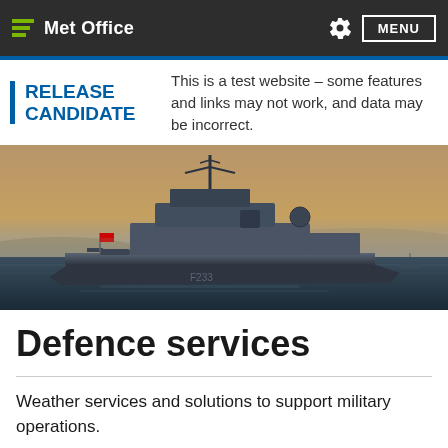Met Office  MENU
RELEASE CANDIDATE  This is a test website – some features and links may not work, and data may be incorrect.
[Figure (photo): A Royal Navy warship photographed at sea in a harbour, viewed from the side, with a warm hazy sky and hills visible in the background.]
Defence services
Weather services and solutions to support military operations.